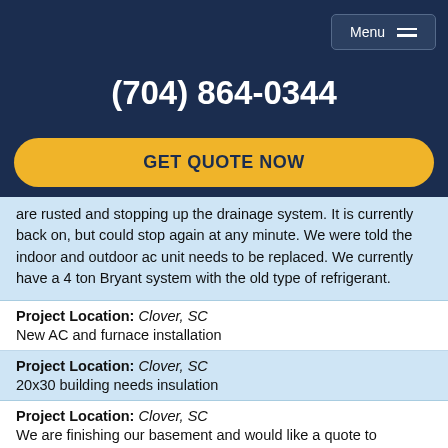Menu
(704) 864-0344
GET QUOTE NOW
are rusted and stopping up the drainage system. It is currently back on, but could stop again at any minute. We were told the indoor and outdoor ac unit needs to be replaced. We currently have a 4 ton Bryant system with the old type of refrigerant.
Project Location: Clover, SC
New AC and furnace installation
Project Location: Clover, SC
20x30 building needs insulation
Project Location: Clover, SC
We are finishing our basement and would like a quote to